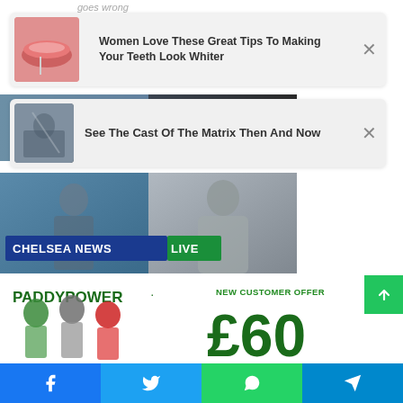goes wrong
[Figure (screenshot): Ad card: lips image with text 'Women Love These Great Tips To Making Your Teeth Look Whiter' with close button]
named: 'No loyalty – definitely a brand to miss'
[Figure (screenshot): Ad card: Matrix scene image with text 'See The Cast Of The Matrix Then And Now' with close button]
[Figure (screenshot): Chelsea News Live article thumbnail image with banner text]
[Figure (screenshot): Paddy Power advertisement: New Customer Offer £60, with jockey figures]
Facebook | Twitter | WhatsApp | Telegram social share bar